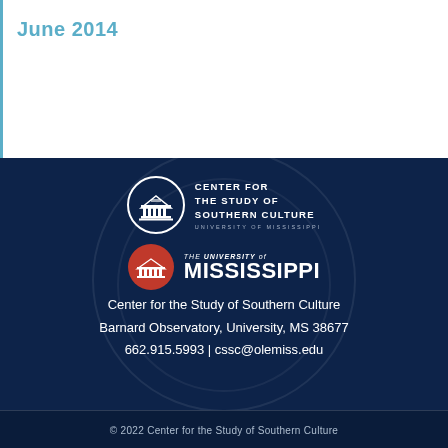June 2014
[Figure (logo): Center for the Study of Southern Culture logo — circular emblem with building icon, text: CENTER FOR THE STUDY OF SOUTHERN CULTURE, UNIVERSITY OF MISSISSIPPI]
[Figure (logo): The University of Mississippi logo — red circle with building, text: THE UNIVERSITY of MISSISSIPPI]
Center for the Study of Southern Culture
Barnard Observatory, University, MS 38677
662.915.5993 | cssc@olemiss.edu
© 2022 Center for the Study of Southern Culture